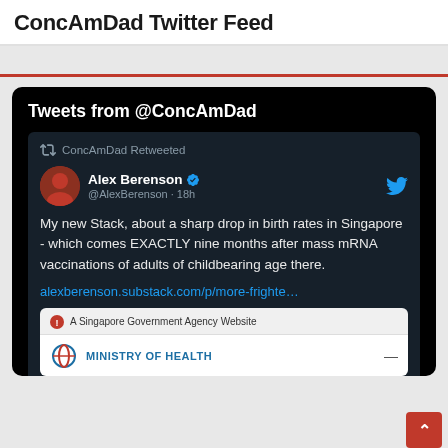ConcAmDad Twitter Feed
[Figure (screenshot): A screenshot of a Twitter feed showing a tweet by Alex Berenson (verified) retweeted by ConcAmDad. The tweet text reads: 'My new Stack, about a sharp drop in birth rates in Singapore - which comes EXACTLY nine months after mass mRNA vaccinations of adults of childbearing age there.' with a link to alexberenson.substack.com/p/more-frighte... and a preview card showing a Singapore Government Agency / Ministry of Health website.]